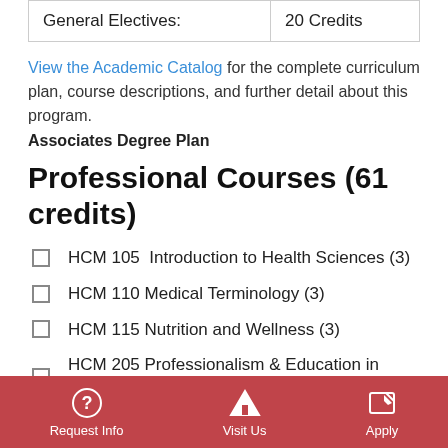| General Electives: | 20 Credits |
View the Academic Catalog for the complete curriculum plan, course descriptions, and further detail about this program.
Associates Degree Plan
Professional Courses (61 credits)
HCM 105  Introduction to Health Sciences (3)
HCM 110 Medical Terminology (3)
HCM 115 Nutrition and Wellness (3)
HCM 205 Professionalism & Education in Healthcare (3)
HCM 210 Ethics/… in healthcare (3)
Request Info | Visit Us | Apply